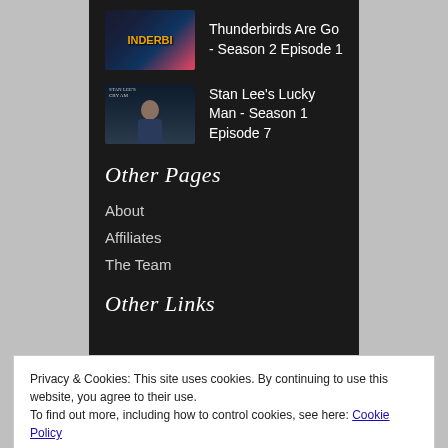Thunderbirds Are Go - Season 2 Episode 1
Stan Lee's Lucky Man - Season 1 Episode 7
Other Pages
About
Affiliates
The Team
Other Links
Privacy & Cookies: This site uses cookies. By continuing to use this website, you agree to their use.
To find out more, including how to control cookies, see here: Cookie Policy
Close and accept